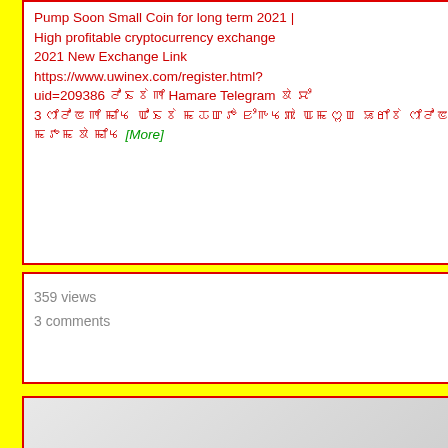Pump Soon Small Coin for long term 2021 | High profitable cryptocurrency exchange 2021 New Exchange Link https://www.uwinex.com/register.html?uid=209386 ꯂꯣꯏꯕꯥꯒꯤ Hamare Telegram ꯗꯥ ꯆꯪꯕꯥ 3 ꯁꯤꯂꯣꯟꯒꯤ ꯃꯤꯠ ꯑꯣꯏꯕꯥ ꯃꯊꯛꯇꯥ ꯐꯪꯒꯠꯄꯥ ꯑꯃꯁꯨꯡꯗꯥ ꯎꯔꯤꯕꯥ ꯁꯤꯂꯣꯟ ꯏꯁꯤꯡ ꯊꯦꯡꯅꯕꯥ ꯃꯇꯃꯗꯥ [More]
359 views
3 comments
[Figure (screenshot): Thumbnail placeholder image with a dark gray rounded rectangle containing three white dots on a light gray gradient background]
Greatest DOGE Coin News, Coinbase Listing (Mega Altcoin
Welcome to Around the Blockchain, a new cryptocurrency show where we bring in the TOP crypto experts to discuss the latest developments in the space. Today, our four top experts include BitBoy...